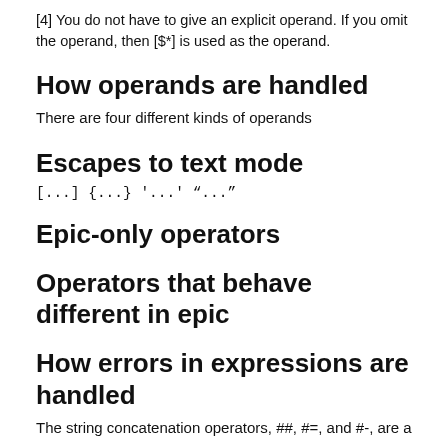[4] You do not have to give an explicit operand. If you omit the operand, then [$*] is used as the operand.
How operands are handled
There are four different kinds of operands
Escapes to text mode
[...] {...} '...' “...”
Epic-only operators
Operators that behave different in epic
How errors in expressions are handled
The string concatenation operators, ##, #=, and #-, are a